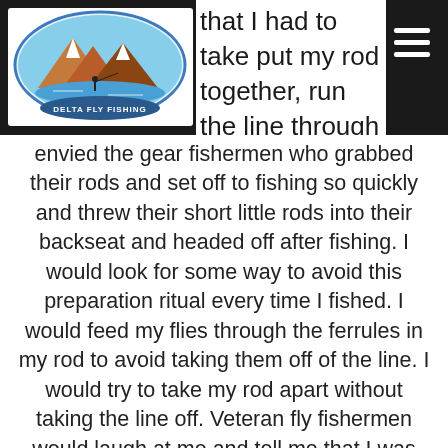that I had to take put my rod together, run the line through my rig. I equally dreaded taking apart I the reel and put everything in its place. I
[Figure (logo): Delta Fly Fishing logo — oval shape with mountain landscape, water, and angler silhouette, with text 'DELTA FLY FISHING' at the bottom]
envied the gear fishermen who grabbed their rods and set off to fishing so quickly and threw their short little rods into their backseat and headed off after fishing. I would look for some way to avoid this preparation ritual every time I fished. I would feed my flies through the ferrules in my rod to avoid taking them off of the line. I would try to take my rod apart without taking the line off. Veteran fly fishermen would laugh at me and tell me that I was going to break my rod because of my laziness. They were right. It wasn't long before I snapped the tip off of my favorite rod for this very reason.
I am sure part of this was a personal worry that I wouldn't be able to replicate my set ups with any accuracy as a newer angler. I also tie terrible knots and, to this day, I still don't tie knots I trust fully.